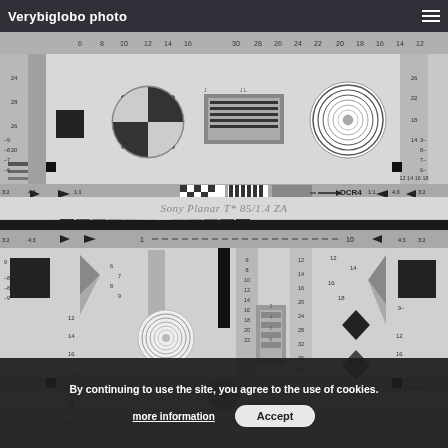Verybiglobo photo
[Figure (photo): Camera resolution test chart (ISO chart) showing resolution patterns, grayscale wedges, frequency patterns, wheel target, ring patterns, and numerical scales. Label at bottom: Sony Planar T* 85/1.4 ZA]
Sony Planar T* 85/1.4 ZA
[Figure (photo): Second camera resolution test chart showing close-up center portion of ISO resolution chart with scale markers, frequency patterns, focus target patterns, grayscale wedges, diamond shapes, and numerical measurement scales.]
By continuing to use the site, you agree to the use of cookies.
more information
Accept